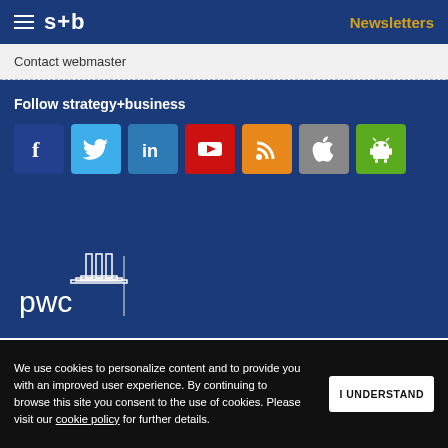s+b  Newsletters
Contact webmaster
Follow strategy+business
[Figure (infographic): Social media icons: Facebook, Twitter, LinkedIn, YouTube, RSS, Apple, Android]
[Figure (logo): PwC logo — pwc text with building icon]
We use cookies to personalize content and to provide you with an improved user experience. By continuing to browse this site you consent to the use of cookies. Please visit our cookie policy for further details.